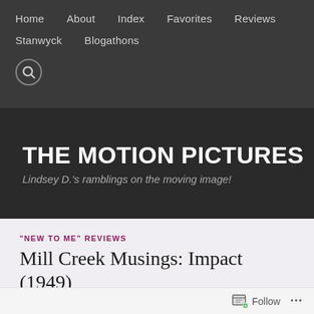Home  About  Index  Favorites  Reviews  Stanwyck  Blogathons
THE MOTION PICTURES
Lindsey D.'s ramblings on the moving image!
"NEW TO ME" REVIEWS
Mill Creek Musings: Impact (1949)